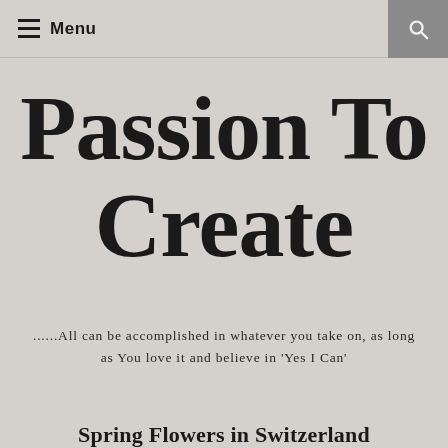Menu
Passion To Create
......All can be accomplished in whatever you take on, as long as You love it and believe in 'Yes I Can'
Spring Flowers in Switzerland